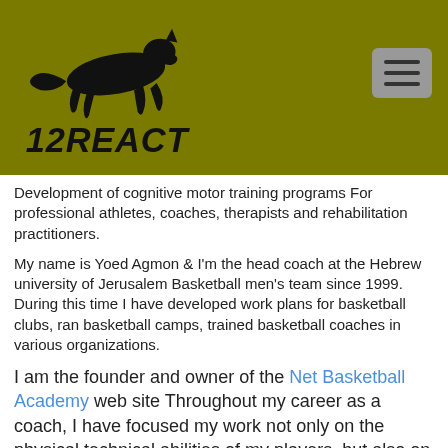[Figure (logo): 12REACT logo with a leaping panther/cat silhouette above stylized '12REACT' text, on an olive/dark yellow background]
Development of cognitive motor training programs For professional athletes, coaches, therapists and rehabilitation practitioners.
My name is Yoed Agmon & I'm the head coach at the Hebrew university of Jerusalem Basketball men's team since 1999. During this time I have developed work plans for basketball clubs, ran basketball camps, trained basketball coaches in various organizations.
I am the founder and owner of the Net Basketball Academy web site Throughout my career as a coach, I have focused my work not only on the physical technical abilities of my players, but also on providing them the cognitive and emotional tools they can deal with in the various challenges they meet